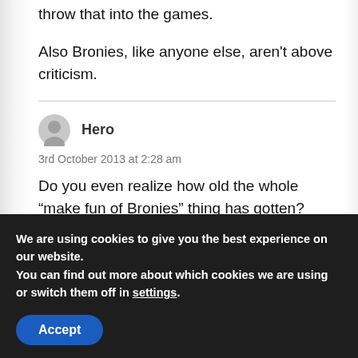throw that into the games.
Also Bronies, like anyone else, aren't above criticism.
Hero
3rd October 2013 at 2:28 am
Do you even realize how old the whole “make fun of Bronies” thing has gotten?
We are using cookies to give you the best experience on our website.
You can find out more about which cookies we are using or switch them off in settings.
Accept